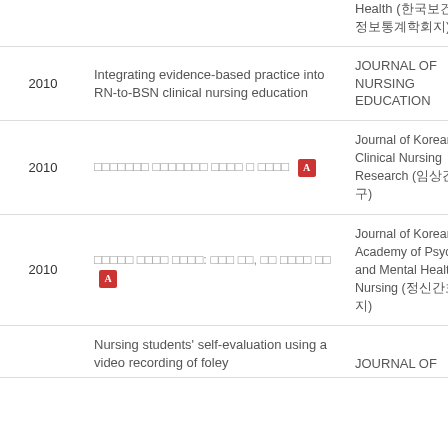| Year | Title | Journal |
| --- | --- | --- |
|  | Health (한국보건정보통계학회지) |  |
| 2010 | Integrating evidence-based practice into RN-to-BSN clinical nursing education | JOURNAL OF NURSING EDUCATION |
| 2010 | □□□□□□□ □□□□□□□ □□□□ □ □□□□ [PDF] | Journal of Korean Clinical Nursing Research (임상간호연구) |
| 2010 | □□□□□ □□□□ □□□□: □□□ □□, □□ □□□□ □□ [PDF] | Journal of Korean Academy of Psychiatric and Mental Health Nursing (정신간호학회지) |
|  | Nursing students' self-evaluation using a video recording of foley catheterization: effects on students'... | JOURNAL OF |